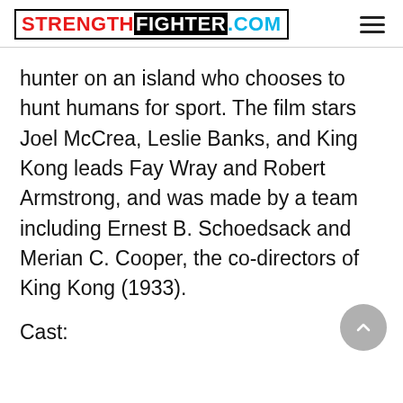STRENGTHFIGHTER.COM
hunter on an island who chooses to hunt humans for sport. The film stars Joel McCrea, Leslie Banks, and King Kong leads Fay Wray and Robert Armstrong, and was made by a team including Ernest B. Schoedsack and Merian C. Cooper, the co-directors of King Kong (1933).
Cast: